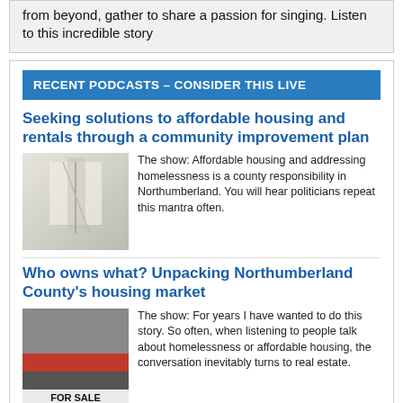from beyond, gather to share a passion for singing. Listen to this incredible story
RECENT PODCASTS – CONSIDER THIS LIVE
Seeking solutions to affordable housing and rentals through a community improvement plan
[Figure (photo): Interior room with ladder, bright window, empty space]
The show: Affordable housing and addressing homelessness is a county responsibility in Northumberland. You will hear politicians repeat this mantra often.
Who owns what? Unpacking Northumberland County's housing market
[Figure (photo): Exterior photo with a FOR SALE sign and red banner]
The show: For years I have wanted to do this story. So often, when listening to people talk about homelessness or affordable housing, the conversation inevitably turns to real estate.
Cobourg police officers develop unique response to homelessness and addiction
[Figure (photo): Police officers in dark tactical gear]
The show: The full interview with bonus material: It was a beautiful Sunday morning just over a year ago. Sgt.